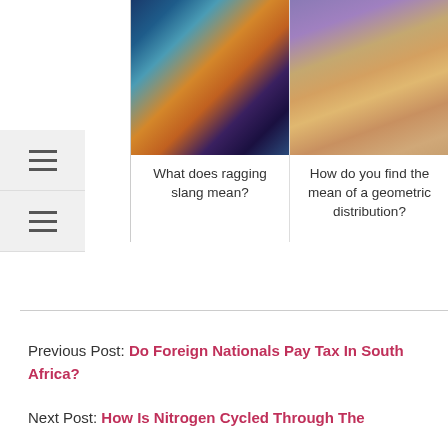[Figure (photo): Nebula or colorful cosmic cloud image in blues, oranges and purples]
What does ragging slang mean?
[Figure (photo): Abstract watercolor painting in purples, oranges and tans]
How do you find the mean of a geometric distribution?
Previous Post: Do Foreign Nationals Pay Tax In South Africa?
Next Post: How Is Nitrogen Cycled Through The